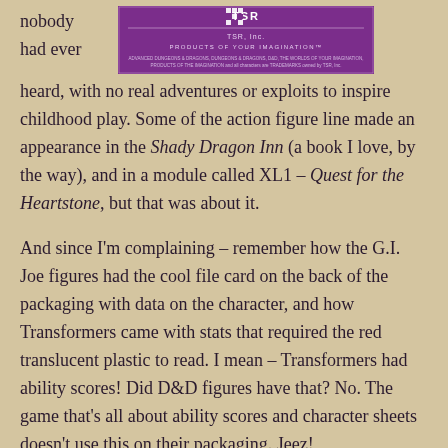[Figure (logo): TSR Inc. logo in purple/white on purple background with tagline 'PRODUCTS OF YOUR IMAGINATION']
nobody had ever heard, with no real adventures or exploits to inspire childhood play. Some of the action figure line made an appearance in the Shady Dragon Inn (a book I love, by the way), and in a module called XL1 – Quest for the Heartstone, but that was about it.

And since I'm complaining – remember how the G.I. Joe figures had the cool file card on the back of the packaging with data on the character, and how Transformers came with stats that required the red translucent plastic to read. I mean – Transformers had ability scores! Did D&D figures have that? No. The game that's all about ability scores and character sheets doesn't use this on their packaging. Jeez!